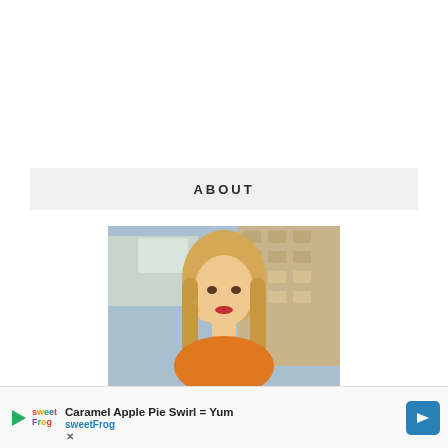ABOUT
[Figure (photo): Portrait photo of a young blonde woman in an orange top, hand near her face, with an urban background]
Caramel Apple Pie Swirl = Yum sweetFrog